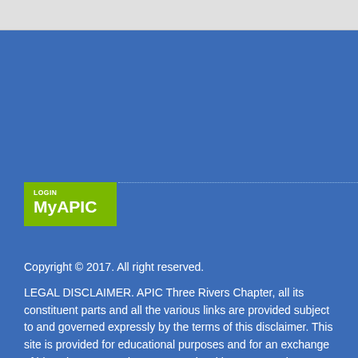[Figure (other): Light gray top navigation bar of a website]
[Figure (other): Green LOGIN MyAPIC button/logo on blue background with dotted border line]
Copyright © 2017. All right reserved.
LEGAL DISCLAIMER. APIC Three Rivers Chapter, all its constituent parts and all the various links are provided subject to and governed expressly by the terms of this disclaimer. This site is provided for educational purposes and for an exchange of ideas between and among people with a common interest in infection control and epidemiology. APIC Three Rivers Chapter does not warrant